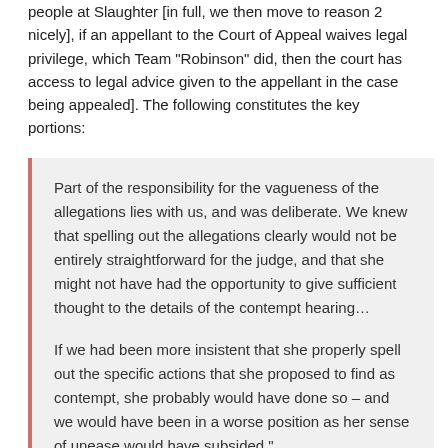people at Slaughter [in full, we then move to reason 2 nicely], if an appellant to the Court of Appeal waives legal privilege, which Team "Robinson" did, then the court has access to legal advice given to the appellant in the case being appealed]. The following constitutes the key portions:
Part of the responsibility for the vagueness of the allegations lies with us, and was deliberate. We knew that spelling out the allegations clearly would not be entirely straightforward for the judge, and that she might not have had the opportunity to give sufficient thought to the details of the contempt hearing…
If we had been more insistent that she properly spell out the specific actions that she proposed to find as contempt, she probably would have done so – and we would have been in a worse position as her sense of unease would have subsided."